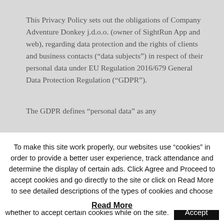This Privacy Policy sets out the obligations of Company Adventure Donkey j.d.o.o. (owner of SightRun App and web), regarding data protection and the rights of clients and business contacts (“data subjects”) in respect of their personal data under EU Regulation 2016/679 General Data Protection Regulation (“GDPR”).
The GDPR defines “personal data” as any
To make this site work properly, our websites use “cookies” in order to provide a better user experience, track attendance and determine the display of certain ads. Click Agree and Proceed to accept cookies and go directly to the site or click on Read More to see detailed descriptions of the types of cookies and choose whether to accept certain cookies while on the site.
Accept
Read More